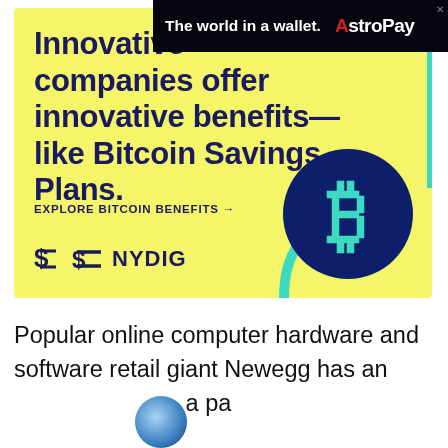[Figure (illustration): NYDIG advertisement banner with yellow background, teal accent bar on right, headline text, EXPLORE BITCOIN BENEFITS CTA, NYDIG logo, teal arc graphic, and dark blue Bitcoin circle with teal Bitcoin symbol]
Popular online computer hardware and software retail giant Newegg has announced... a pa...
[Figure (illustration): AstroPay advertisement strip with dark background showing globe graphic, 'The world in a wallet.' text and AstroPay logo with red accent on A]